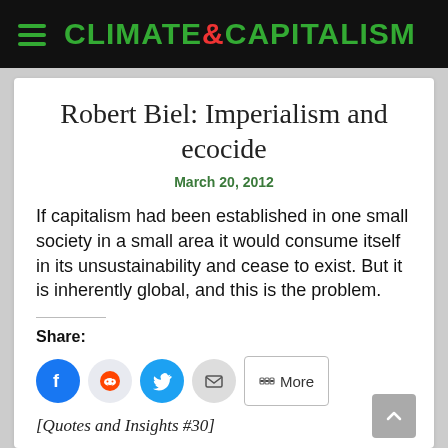CLIMATE&CAPITALISM
Robert Biel: Imperialism and ecocide
March 20, 2012
If capitalism had been established in one small society in a small area it would consume itself in its unsustainability and cease to exist. But it is inherently global, and this is the problem.
Share:
[Quotes and Insights #30]